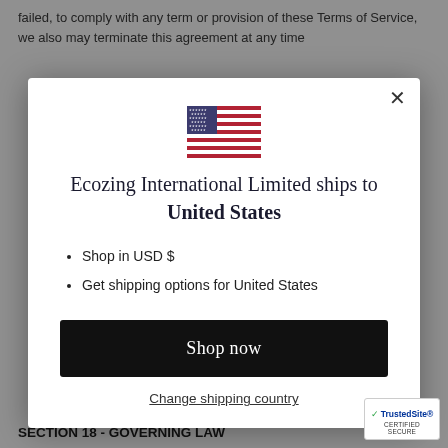failed, to comply with any term or provision of these Terms of Service, we also may terminate this agreement at any time
[Figure (other): Modal popup dialog showing US flag, shipping destination message for Ecozing International Limited, shopping options, and a Shop now button]
Shop in USD $
Get shipping options for United States
SECTION 18 - GOVERNING LAW